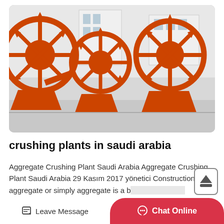[Figure (photo): Orange industrial aggregate washing/crushing machines (large wheel-type sand washers) lined up in a factory yard with white industrial buildings in the background.]
crushing plants in saudi arabia
Aggregate Crushing Plant Saudi Arabia Aggregate Crushing Plant Saudi Arabia 29 Kasım 2017 yönetici Construction aggregate or simply aggregate is a broad category of...